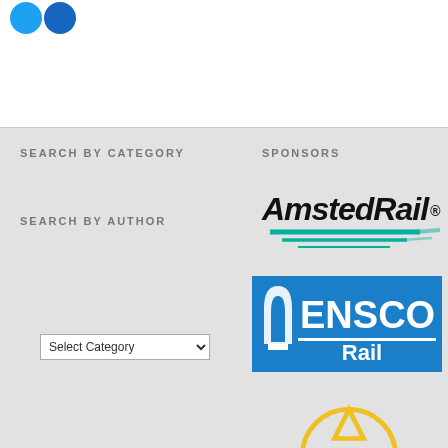[Figure (logo): Top white box with two blue circles (social media icons)]
SEARCH BY CATEGORY
[Figure (screenshot): Select Category dropdown]
SEARCH BY AUTHOR
[Figure (screenshot): Select Author dropdown]
SPONSORS
[Figure (logo): Amsted Rail logo with italic bold text and teal speed lines]
[Figure (logo): ENSCO Rail logo on blue background with white arch icon]
[Figure (logo): Partial yellow circular logo with triangle/arrow shape at bottom of page]